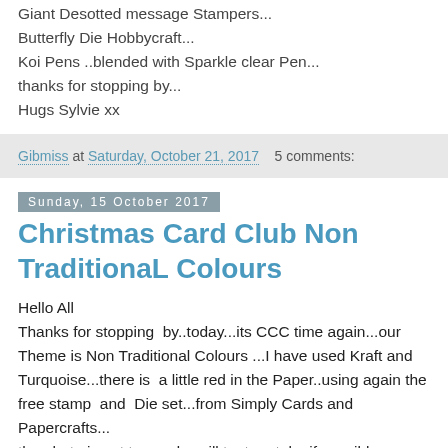Giant Desotted message Stampers...
Butterfly Die Hobbycraft...
Koi Pens ..blended with Sparkle clear Pen...
thanks for stopping by...
Hugs Sylvie xx
Gibmiss at Saturday, October 21, 2017   5 comments:
Sunday, 15 October 2017
Christmas Card Club Non TraditionaL Colours
Hello All
Thanks for stopping  by..today...its CCC time again...our Theme is Non Traditional Colours ...I have used Kraft and Turquoise...there is  a little red in the Paper..using again the free stamp  and  Die set...from Simply Cards and Papercrafts...
the photo is not to good ...will try to retake if possible...
Take a look below...